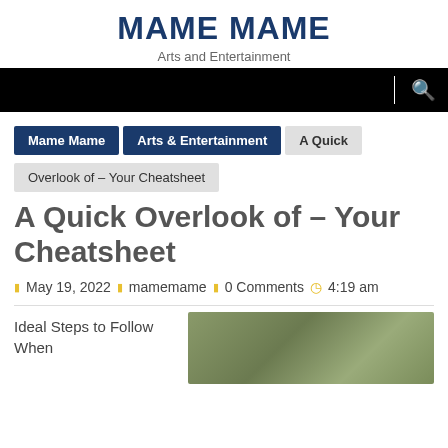MAME MAME
Arts and Entertainment
[Figure (screenshot): Black navigation bar with a vertical white divider and a white search icon on the right]
Mame Mame   Arts & Entertainment   A Quick
Overlook of – Your Cheatsheet
A Quick Overlook of – Your Cheatsheet
May 19, 2022  mamemame  0 Comments  4:19 am
Ideal Steps to Follow When
[Figure (photo): Outdoor photo showing blurred green grass or foliage]